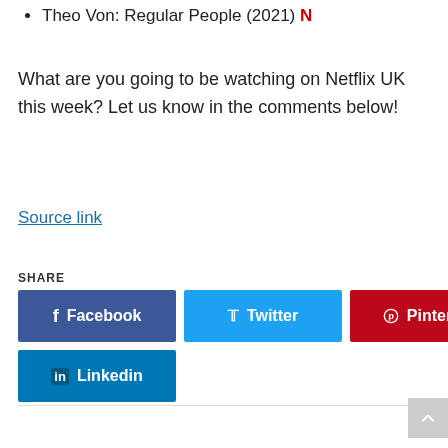Theo Von: Regular People (2021) N
What are you going to be watching on Netflix UK this week? Let us know in the comments below!
Source link
SHARE
[Figure (other): Social share buttons: Facebook, Twitter, Pinterest, Linkedin]